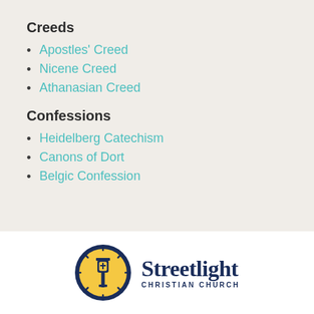Creeds
Apostles' Creed
Nicene Creed
Athanasian Creed
Confessions
Heidelberg Catechism
Canons of Dort
Belgic Confession
[Figure (logo): Streetlight Christian Church logo: circular badge with navy border, yellow background, street lamp with cross, surrounded by rays. Text: 'Streetlight' in large navy serif and 'CHRISTIAN CHURCH' in small caps.]